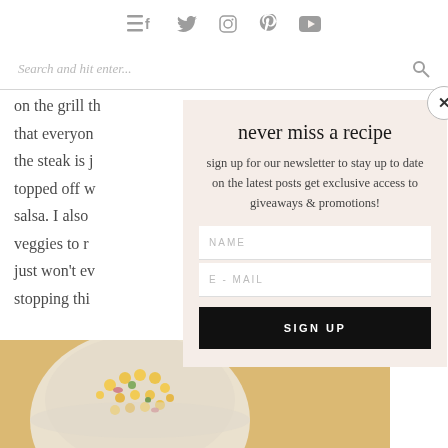Navigation and social icons: menu, facebook, twitter, instagram, pinterest, youtube
Search and hit enter...
on the grill th
that everyon
the steak is j
topped off w
salsa. I also
veggies to r
just won't ev
stopping thi
[Figure (photo): Food photo showing a bowl of corn salsa or grain dish with vegetables]
never miss a recipe
sign up for our newsletter to stay up to date on the latest posts get exclusive access to giveaways & promotions!
NAME
E-MAIL
SIGN UP